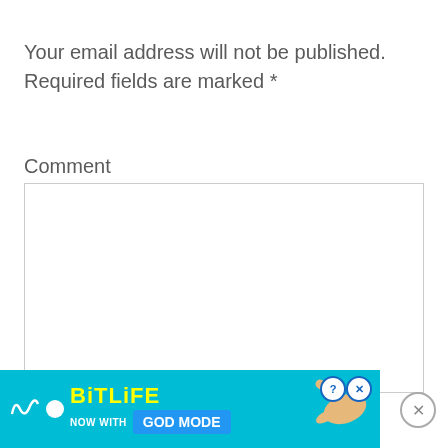Your email address will not be published. Required fields are marked *
Comment
[Figure (screenshot): Empty comment text area input box with a thin border]
[Figure (screenshot): BitLife advertisement banner — cyan background, BitLife logo text in yellow, 'NOW WITH GOD MODE' button in blue, pointing hand graphic, close buttons]